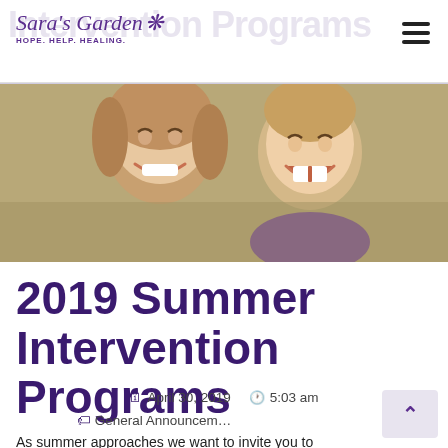Sara's Garden — HOPE. HELP. HEALING.
[Figure (photo): Hero photograph of two smiling people — a woman and a child — both laughing, with warm tones]
2019 Summer Intervention Programs
April 30, 2019   5:03 am
General Announcements
As summer approaches we want to invite you to